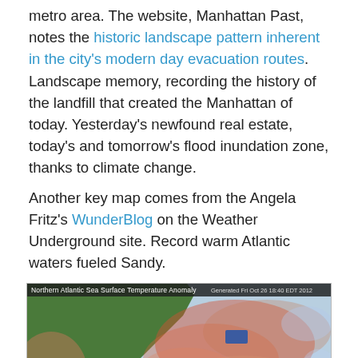metro area. The website, Manhattan Past, notes the historic landscape pattern inherent in the city's modern day evacuation routes. Landscape memory, recording the history of the landfill that created the Manhattan of today. Yesterday's newfound real estate, today's and tomorrow's flood inundation zone, thanks to climate change.
Another key map comes from the Angela Fritz's WunderBlog on the Weather Underground site. Record warm Atlantic waters fueled Sandy.
[Figure (map): Northern Atlantic Sea Surface Temperature Anomaly map showing warm (red/pink) and cool (blue) ocean temperature anomalies. Generated Fri Oct 26 18:40 EDT 2012. Sandy hurricane marker shown in the southern Atlantic.]